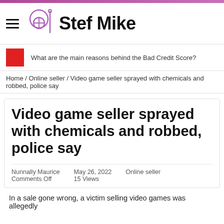Stef Mike
What are the main reasons behind the Bad Credit Score?
Home / Online seller / Video game seller sprayed with chemicals and robbed, police say
Video game seller sprayed with chemicals and robbed, police say
Nunnally Maurice
Comments Off
May 26, 2022
15 Views
Online seller
In a sale gone wrong, a victim selling video games was allegedly